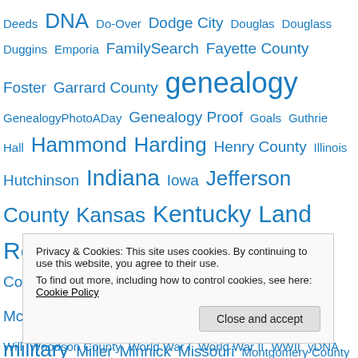Deeds DNA Do-Over Dodge City Douglas Douglass Duggins Emporia FamilySearch Fayette County Foster Garrard County genealogy GenealogyPhotoADay Genealogy Proof Goals Guthrie Hall Hammond Harding Henry County Illinois Hutchinson Indiana Iowa Jefferson County Kansas Kentucky Land Records Leavenworth County Libraries Lincoln County Madison County Marriage Maxwell McPheeters Memories Mentzer Michigan military Miller Minnick Missouri Montgomery County Nemaha County Newspapers Obituary Ohio Organized Patent Preble County Pulaski County railroad Ralston Research Report Revolutionary War Ricketts Ripley County
Privacy & Cookies: This site uses cookies. By continuing to use this website, you agree to their use.
To find out more, including how to control cookies, see here: Cookie Policy
Will Woodson County World War I World War II WWII yDNA